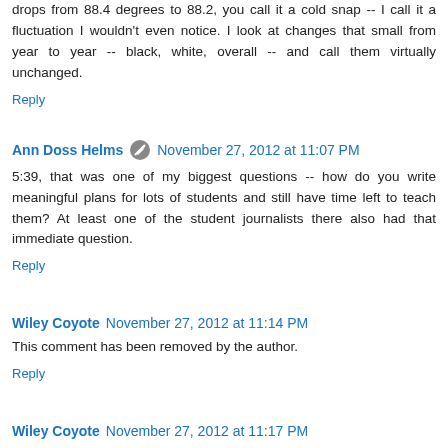drops from 88.4 degrees to 88.2, you call it a cold snap -- I call it a fluctuation I wouldn't even notice. I look at changes that small from year to year -- black, white, overall -- and call them virtually unchanged.
Reply
Ann Doss Helms  November 27, 2012 at 11:07 PM
5:39, that was one of my biggest questions -- how do you write meaningful plans for lots of students and still have time left to teach them? At least one of the student journalists there also had that immediate question.
Reply
Wiley Coyote  November 27, 2012 at 11:14 PM
This comment has been removed by the author.
Reply
Wiley Coyote  November 27, 2012 at 11:17 PM